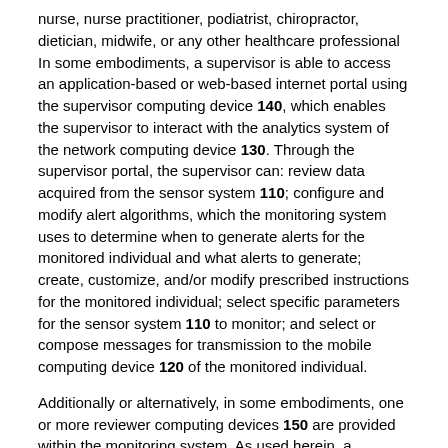nurse, nurse practitioner, podiatrist, chiropractor, dietician, midwife, or any other healthcare professional In some embodiments, a supervisor is able to access an application-based or web-based internet portal using the supervisor computing device 140, which enables the supervisor to interact with the analytics system of the network computing device 130. Through the supervisor portal, the supervisor can: review data acquired from the sensor system 110; configure and modify alert algorithms, which the monitoring system uses to determine when to generate alerts for the monitored individual and what alerts to generate; create, customize, and/or modify prescribed instructions for the monitored individual; select specific parameters for the sensor system 110 to monitor; and select or compose messages for transmission to the mobile computing device 120 of the monitored individual.
Additionally or alternatively, in some embodiments, one or more reviewer computing devices 150 are provided within the monitoring system. As used herein, a reviewer computing device 150 is any computing device used by a reviewer to interact with the analytics system of the network computing device 130. As used herein, a reviewer